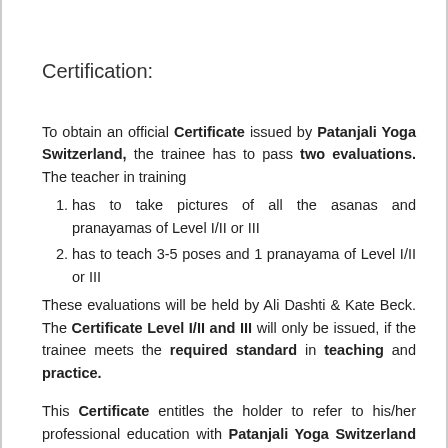Certification:
To obtain an official Certificate issued by Patanjali Yoga Switzerland, the trainee has to pass two evaluations. The teacher in training
has to take pictures of all the asanas and pranayamas of Level I/II or III
has to teach 3-5 poses and 1 pranayama of Level I/II or III
These evaluations will be held by Ali Dashti & Kate Beck. The Certificate Level I/II and III will only be issued, if the trainee meets the required standard in teaching and practice.
This Certificate entitles the holder to refer to his/her professional education with Patanjali Yoga Switzerland and to teach yoga. The teacher would then be required to visit at least one workshop